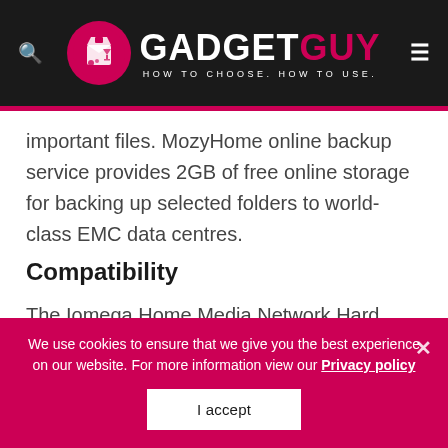GADGET GUY — HOW TO CHOOSE. HOW TO USE.
important files. MozyHome online backup service provides 2GB of free online storage for backing up selected folders to world-class EMC data centres.
Compatibility
The Iomega Home Media Network Hard Drive is compatible with Windows, Mac OS, and Linux PCs. The
We use cookies to ensure that we give you the best experience on our website. For more information view our Privacy policy
I accept